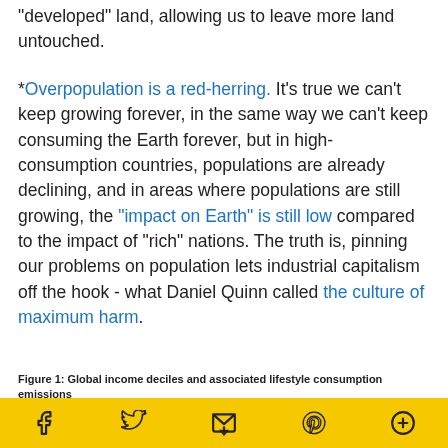"developed" land, allowing us to leave more land untouched.
*Overpopulation is a red-herring. It's true we can't keep growing forever, in the same way we can't keep consuming the Earth forever, but in high-consumption countries, populations are already declining, and in areas where populations are still growing, the "impact on Earth" is still low compared to the impact of "rich" nations. The truth is, pinning our problems on population lets industrial capitalism off the hook - what Daniel Quinn called the culture of maximum harm.
Figure 1: Global income deciles and associated lifestyle consumption emissions
[Figure (bar-chart): Percentage of CO2 emissions by world population — partially visible chart stub at bottom of page]
Social media share bar with Facebook, Twitter, email, Pinterest, and plus icons